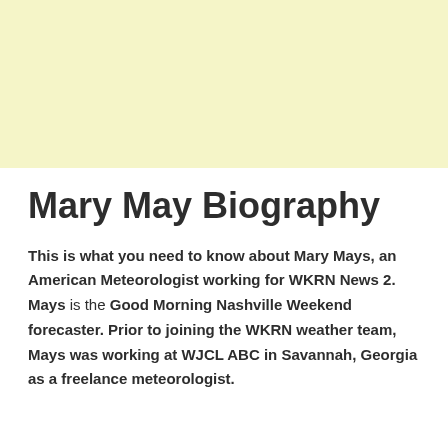[Figure (photo): Light yellow background block at the top of the page]
Mary May Biography
This is what you need to know about Mary Mays, an American Meteorologist working for WKRN News 2. Mays is the Good Morning Nashville Weekend forecaster. Prior to joining the WKRN weather team, Mays was working at WJCL ABC in Savannah, Georgia as a freelance meteorologist.